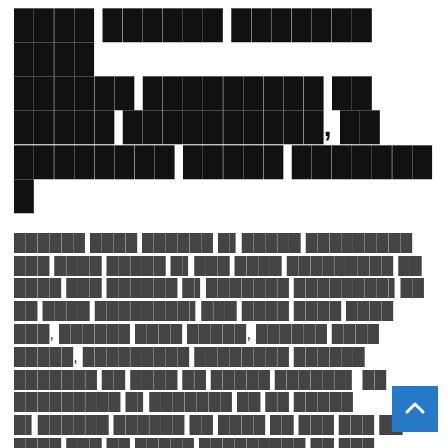[Redacted text in non-Latin script]
[Redacted body text in non-Latin script]